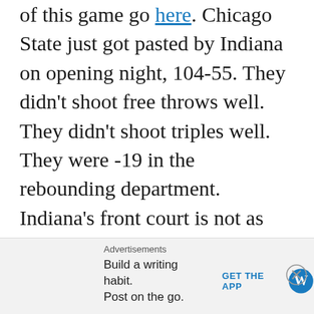of this game go here. Chicago State just got pasted by Indiana on opening night, 104-55. They didn't shoot free throws well. They didn't shoot triples well. They were -19 in the rebounding department. Indiana's front court is not as good as Notre Dame's in my opinion and the Irish should dominate the boards. Mike Brey's club also shot horrible from deep on opening night, I expect there to be a regression to the mean in this game and they come out focused. Notre Dame
Advertisements
Build a writing habit. Post on the go.
GET THE APP